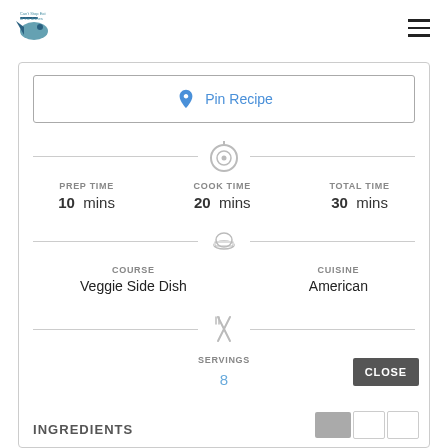[Figure (logo): Small blue ship/fish logo with text]
[Figure (other): Hamburger menu icon (three horizontal lines)]
Pin Recipe
[Figure (other): Timer/clock icon divider]
PREP TIME 10 mins
COOK TIME 20 mins
TOTAL TIME 30 mins
[Figure (other): Chef hat icon divider]
COURSE Veggie Side Dish
CUISINE American
[Figure (other): Fork and knife crossed icon divider]
SERVINGS
8
CLOSE
INGREDIENTS